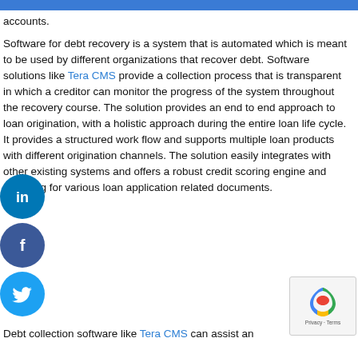accounts.
Software for debt recovery is a system that is automated which is meant to be used by different organizations that recover debt. Software solutions like Tera CMS provide a collection process that is transparent in which a creditor can monitor the progress of the system throughout the recovery course. The solution provides an end to end approach to loan origination, with a holistic approach during the entire loan life cycle. It provides a structured work flow and supports multiple loan products with different origination channels. The solution easily integrates with other existing systems and offers a robust credit scoring engine and archiving for various loan application related documents.
Debt collection software like Tera CMS can assist an